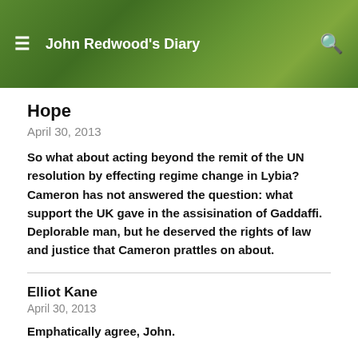John Redwood's Diary
Hope
April 30, 2013
So what about acting beyond the remit of the UN resolution by effecting regime change in Lybia? Cameron has not answered the question: what support the UK gave in the assisination of Gaddaffi. Deplorable man, but he deserved the rights of law and justice that Cameron prattles on about.
Elliot Kane
April 30, 2013
Emphatically agree, John.
The very existence of this horrendous place is a scar on the